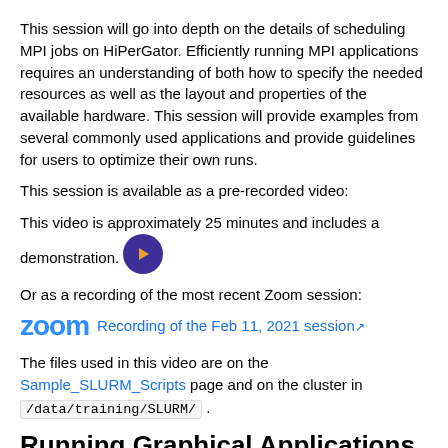This session will go into depth on the details of scheduling MPI jobs on HiPerGator. Efficiently running MPI applications requires an understanding of both how to specify the needed resources as well as the layout and properties of the available hardware. This session will provide examples from several commonly used applications and provide guidelines for users to optimize their own runs.
This session is available as a pre-recorded video:
This video is approximately 25 minutes and includes a demonstration. [play button]
Or as a recording of the most recent Zoom session:
[Figure (logo): Zoom logo in blue followed by a link: Recording of the Feb 11, 2021 session]
The files used in this video are on the Sample_SLURM_Scripts page and on the cluster in /data/training/SLURM/ .
Running Graphical Applications on HiPerGator